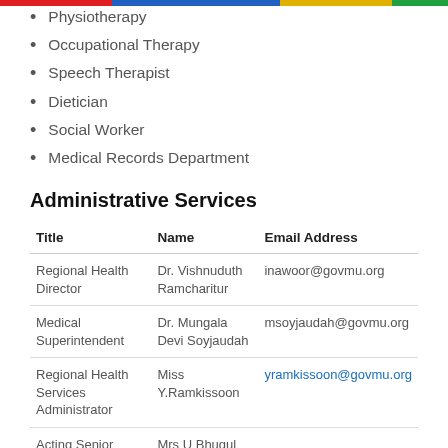Physiotherapy
Occupational Therapy
Speech Therapist
Dietician
Social Worker
Medical Records Department
Administrative Services
| Title | Name | Email Address |
| --- | --- | --- |
| Regional Health Director | Dr. Vishnuduth Ramcharitur | inawoor@govmu.org |
| Medical Superintendent | Dr. Mungala Devi Soyjaudah | msoyjaudah@govmu.org |
| Regional Health Services Administrator | Miss Y.Ramkissoon | yramkissoon@govmu.org |
| Acting Senior | Mrs U Bhugul |  |